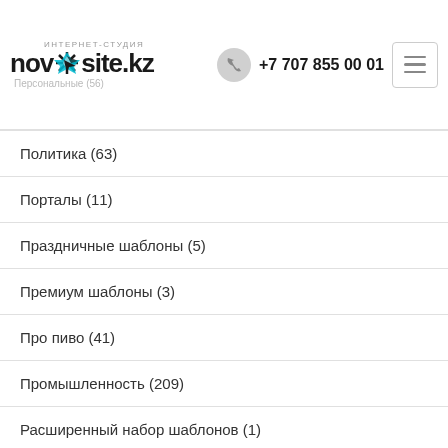novrsite.kz интернет-студия +7 707 855 00 01
Политика (63)
Порталы (11)
Праздничные шаблоны (5)
Премиум шаблоны (3)
Про пиво (41)
Промышленность (209)
Расширенный набор шаблонов (1)
Религия (108)
Рождественские шаблоны (7)
Самые популярные (763)
Свадьба (121)
Сельское хозяйство (195)